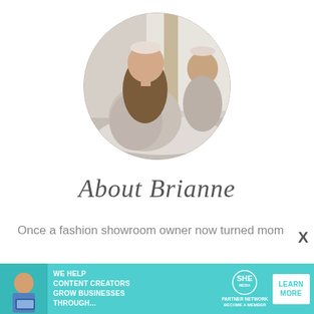[Figure (photo): Circular profile photo of a young woman in a floral dress with a headband, sitting near a mirror in a bright room]
About Brianne
Once a fashion showroom owner now turned mom
[Figure (infographic): Teal advertisement banner: 'We help content creators grow businesses through...' with SHE Partner Network logo and 'Learn More' button]